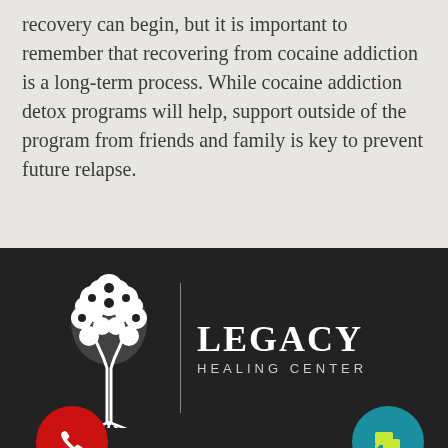recovery can begin, but it is important to remember that recovering from cocaine addiction is a long-term process. While cocaine addiction detox programs will help, support outside of the program from friends and family is key to prevent future relapse.
[Figure (logo): Legacy Healing Center logo: white tree illustration with a vertical divider line, followed by 'LEGACY' in large serif font and 'HEALING CENTER' in smaller spaced sans-serif font. Red circular phone button on the left and teal circular chat button on the right.]